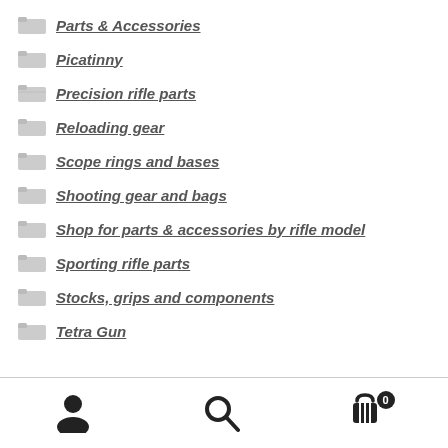Parts & Accessories
Picatinny
Precision rifle parts
Reloading gear
Scope rings and bases
Shooting gear and bags
Shop for parts & accessories by rifle model
Sporting rifle parts
Stocks, grips and components
Tetra Gun